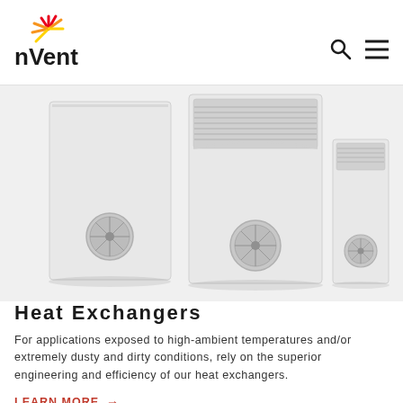nVent
[Figure (photo): Three nVent heat exchanger units of different sizes arranged side by side against a white background. Each unit is a rectangular white/gray metal enclosure with a circular fan grille at the bottom and ventilation grilles at the top.]
Heat Exchangers
For applications exposed to high-ambient temperatures and/or extremely dusty and dirty conditions, rely on the superior engineering and efficiency of our heat exchangers.
LEARN MORE →